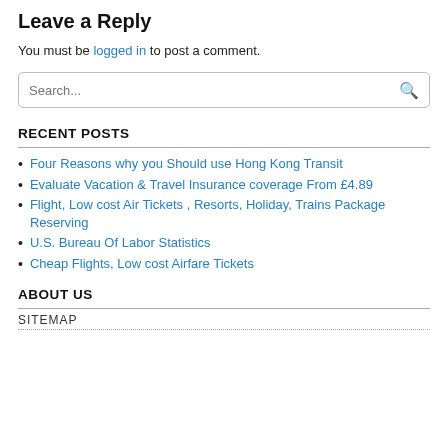Leave a Reply
You must be logged in to post a comment.
RECENT POSTS
Four Reasons why you Should use Hong Kong Transit
Evaluate Vacation & Travel Insurance coverage From £4.89
Flight, Low cost Air Tickets , Resorts, Holiday, Trains Package Reserving
U.S. Bureau Of Labor Statistics
Cheap Flights, Low cost Airfare Tickets
ABOUT US
SITEMAP